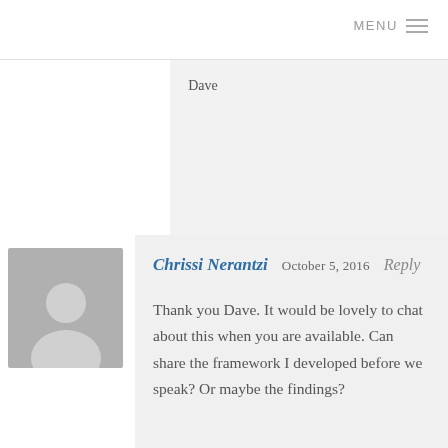MENU
Dave
Chrissi Nerantzi  October 5, 2016  Reply

Thank you Dave. It would be lovely to chat about this when you are available. Can share the framework I developed before we speak? Or maybe the findings?